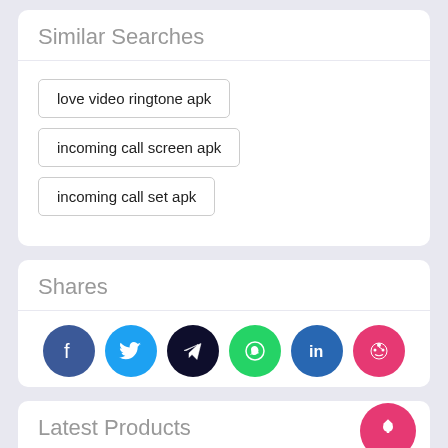Similar Searches
love video ringtone apk
incoming call screen apk
incoming call set apk
Shares
[Figure (infographic): Row of 6 social share buttons: Facebook (dark blue), Twitter (cyan), Telegram (dark navy), WhatsApp (green), LinkedIn (blue), Reddit (pink/red)]
Latest Products